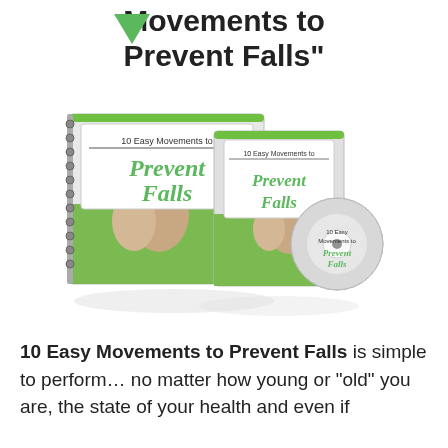Movements to Prevent Falls”
[Figure (illustration): Product image showing a spiral-bound book, a DVD case, and a CD disc, all titled '10 Easy Movements to Prevent Falls', featuring photos of smiling elderly couple on the covers, with green accents.]
10 Easy Movements to Prevent Falls is simple to perform… no matter how young or “old” you are, the state of your health and even if